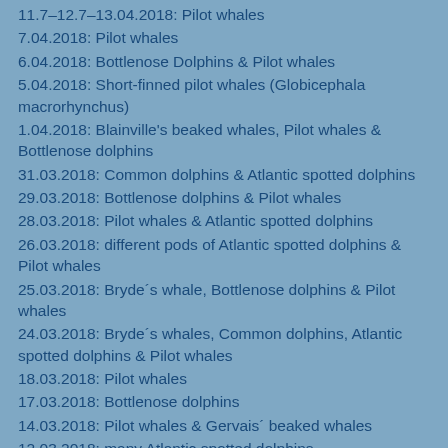11.7–12.7–13.04.2018: Pilot whales
7.04.2018: Pilot whales
6.04.2018: Bottlenose Dolphins & Pilot whales
5.04.2018: Short-finned pilot whales (Globicephala macrorhynchus)
1.04.2018: Blainville's beaked whales, Pilot whales & Bottlenose dolphins
31.03.2018: Common dolphins & Atlantic spotted dolphins
29.03.2018: Bottlenose dolphins & Pilot whales
28.03.2018: Pilot whales & Atlantic spotted dolphins
26.03.2018: different pods of Atlantic spotted dolphins & Pilot whales
25.03.2018: Bryde´s whale, Bottlenose dolphins & Pilot whales
24.03.2018: Bryde´s whales, Common dolphins, Atlantic spotted dolphins & Pilot whales
18.03.2018: Pilot whales
17.03.2018: Bottlenose dolphins
14.03.2018: Pilot whales & Gervais´ beaked whales
12.03.2018: many Atlantic spotted dolphins